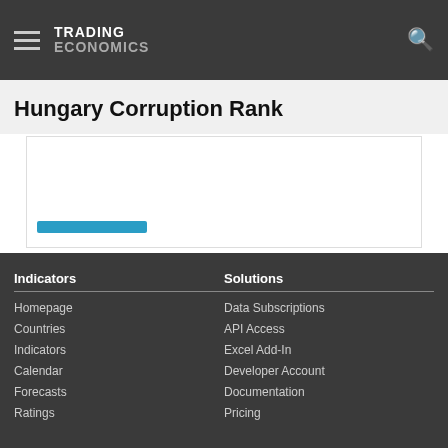TRADING ECONOMICS
Hungary Corruption Rank
[Figure (other): Partially visible chart area with a blue tab/button element, inside a white bordered box.]
Indicators: Homepage, Countries, Indicators, Calendar, Forecasts, Ratings | Solutions: Data Subscriptions, API Access, Excel Add-In, Developer Account, Documentation, Pricing